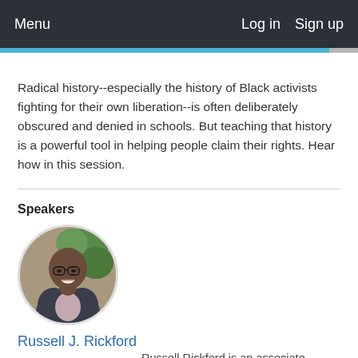Menu   Log in   Sign up
Radical history--especially the history of Black activists fighting for their own liberation--is often deliberately obscured and denied in schools. But teaching that history is a powerful tool in helping people claim their rights. Hear how in this session.
Speakers
[Figure (photo): Circular headshot photo of Russell J. Rickford, a man wearing glasses and a suit jacket, smiling, with greenery in the background.]
Russell J. Rickford
Russell Rickford is an associate professor of history at Cornell